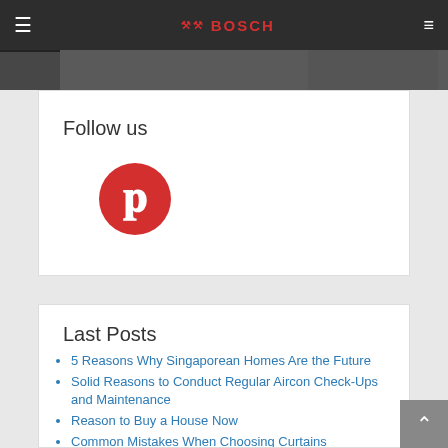BOSCH
[Figure (screenshot): Bosch website banner/header screenshot showing dark background with partial content]
Follow us
[Figure (logo): Pinterest circular red icon with white P letter]
Last Posts
5 Reasons Why Singaporean Homes Are the Future
Solid Reasons to Conduct Regular Aircon Check-Ups and Maintenance
Reason to Buy a House Now
Common Mistakes When Choosing Curtains